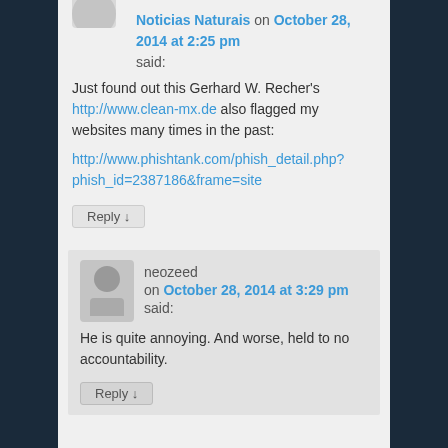Noticias Naturais on October 28, 2014 at 2:25 pm said:
Just found out this Gerhard W. Recher's http://www.clean-mx.de also flagged my websites many times in the past:
http://www.phishtank.com/phish_detail.php?phish_id=2387186&frame=site
Reply ↓
neozeed on October 28, 2014 at 3:29 pm said:
He is quite annoying. And worse, held to no accountability.
Reply ↓